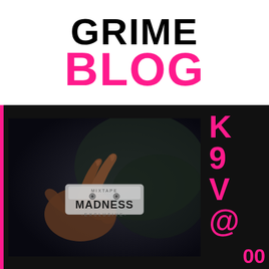[Figure (logo): Grime Blog logo: 'GRIME' in black bold text above 'BLOG' in pink/magenta bold text]
[Figure (screenshot): Screenshot of a music video thumbnail from Mixtape Madness Exclusive, showing a dark scene with a hand in the foreground. The Mixtape Madness logo with cassette tape icon and '-EXCLUSIVE-' text is overlaid in the center.]
K 9 V @